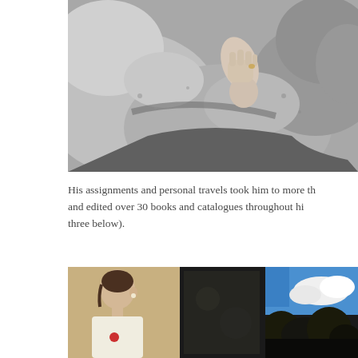[Figure (photo): Black and white photograph showing a human figure among large granite boulders/rocks, seen from above]
His assignments and personal travels took him to more than and edited over 30 books and catalogues throughout hi three below).
[Figure (photo): Two book covers side by side: left shows a portrait of a young woman in profile with a rose on her shirt against a warm background; right is a dark background]
[Figure (photo): Book cover with blue sky, clouds and dark foliage]